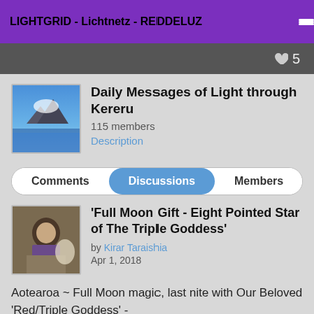LIGHTGRID - Lichtnetz - REDDELUZ
♥ 5
Daily Messages of Light through Kereru
115 members
Description
Comments | Discussions | Members
'Full Moon Gift - Eight Pointed Star of The Triple Goddess'
by Kirar Taraishia
Apr 1, 2018
Aotearoa ~ Full Moon magic, last nite with Our Beloved 'Red/Triple Goddess' -
at Our Waahi Tapu - Blessed were We as Four(Three Divine Feminine - One Divine Masculine) beautiful Souls